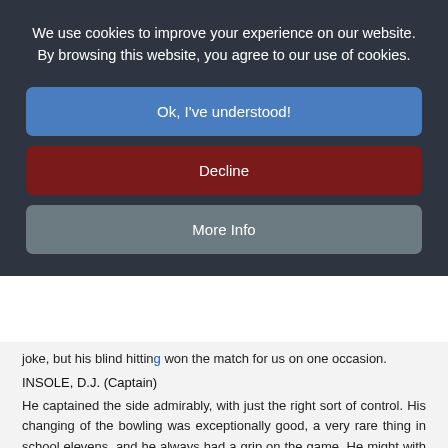We use cookies to improve your experience on our website. By browsing this website, you agree to our use of cookies.
Ok, I've understood!
Decline
More Info
joke, but his blind hitting won the match for us on one occasion.
INSOLE, D.J. (Captain)
He captained the side admirably, with just the right sort of control. His changing of the bowling was exceptionally good, a very rare thing in school elevens, and he always had a grip on the game. He might with advantage, study very closely the type of field each of his bowlers requires, as they have a tendency to indifference about it.
He was the mainstay of the side in batting, easily the best fielder, and one of the best bowlers. As a batsman he has nearly all the shots, with particularly fine forcing strokes to the off, and his style deserves the